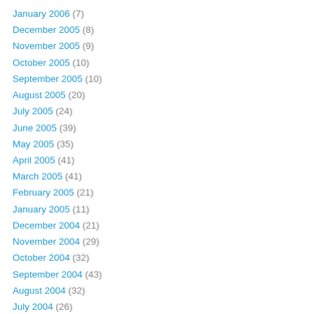January 2006 (7)
December 2005 (8)
November 2005 (9)
October 2005 (10)
September 2005 (10)
August 2005 (20)
July 2005 (24)
June 2005 (39)
May 2005 (35)
April 2005 (41)
March 2005 (41)
February 2005 (21)
January 2005 (11)
December 2004 (21)
November 2004 (29)
October 2004 (32)
September 2004 (43)
August 2004 (32)
July 2004 (26)
June 2004 (49)